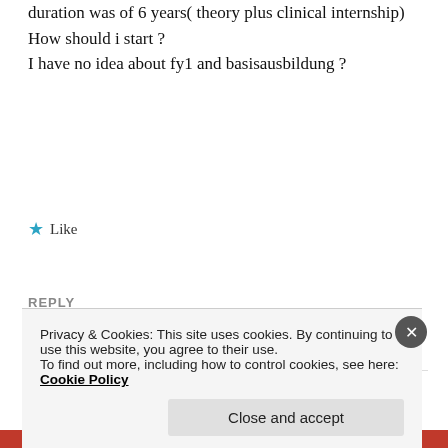duration was of 6 years( theory plus clinical internship)
How should i start ?
I have no idea about fy1 and basisausbildung ?
★ Like
REPLY
[Figure (photo): Circular avatar photo of a woman with brown hair, smiling]
Anjani
Privacy & Cookies: This site uses cookies. By continuing to use this website, you agree to their use.
To find out more, including how to control cookies, see here: Cookie Policy
Close and accept